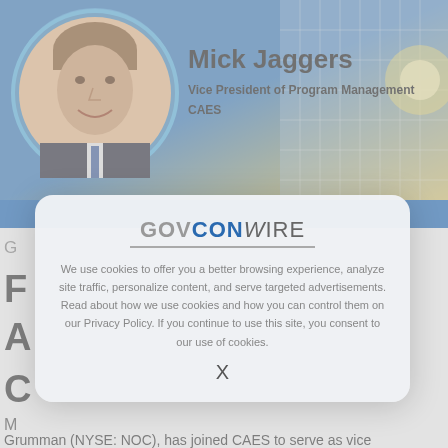[Figure (photo): Profile photo of Mick Jaggers in a circular frame with blue border, set against a blue/gold gradient background with building imagery. Text overlay reads: Mick Jaggers, Vice President of Program Management, CAES.]
Mick Jaggers
Vice President of Program Management
CAES
[Figure (screenshot): GovConWire website cookie consent modal dialog overlaying the page content. The modal shows the GovConWire logo and a cookie usage notice.]
We use cookies to offer you a better browsing experience, analyze site traffic, personalize content, and serve targeted advertisements. Read about how we use cookies and how you can control them on our Privacy Policy. If you continue to use this site, you consent to our use of cookies.
X
Grumman (NYSE: NOC), has joined CAES to serve as vice